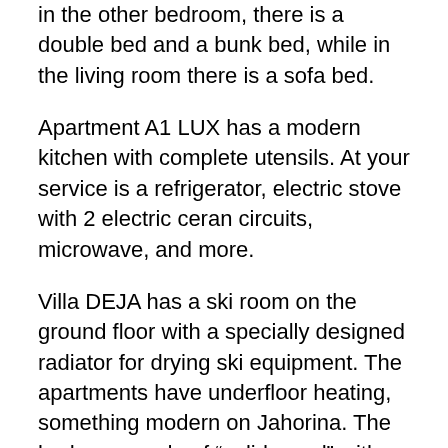in the other bedroom, there is a double bed and a bunk bed, while in the living room there is a sofa bed.
Apartment A1 LUX has a modern kitchen with complete utensils. At your service is a refrigerator, electric stove with 2 electric ceran circuits, microwave, and more.
Villa DEJA has a ski room on the ground floor with a specially designed radiator for drying ski equipment. The apartments have underfloor heating, something modern on Jahorina. The beds are made of “solid wood” with medical yoga mattresses. Guests are provided with towels, bed linen. Villa Deja offers guests free wi-fi internet, cable TV, and free parking is provided.
Bedroom 1: 1 bunk beds and 1 large double bed